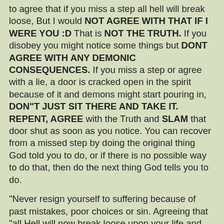to agree that if you miss a step all hell will break loose, But I would NOT AGREE WITH THAT IF I WERE YOU :D  That is NOT THE TRUTH.   If you disobey you might notice some things but DONT AGREE WITH ANY DEMONIC CONSEQUENCES.  If you miss a step or agree with a lie, a door is cracked open in the spirit because of it and demons might start pouring in, DON"T JUST SIT THERE AND TAKE IT.    REPENT, AGREE with the Truth and SLAM that door shut as soon as you notice.  You can recover from a missed step by doing the original thing God told you to do, or if there is no possible way to do that, then do the next thing God tells you to do.
"Never resign yourself to suffering because of past mistakes, poor choices or sin. Agreeing that "all Hell will now break loose upon your life and there's nothing you can do about it because you deserve it since you sinned," is the exact opposite of humility and repentance. True humility will compel you to agree with God as quickly and instantly as you are aware of your sin, not berate yourself or mope around in condemnation because you blew it! Self righteousness empowers the perspective that "we must now